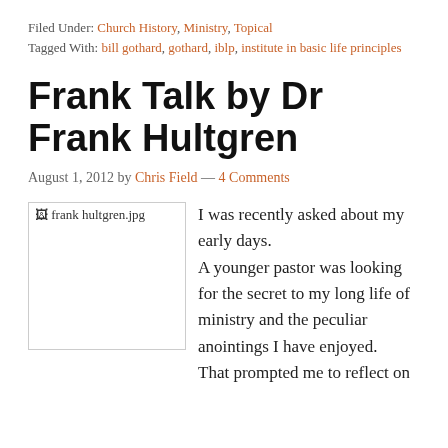Filed Under: Church History, Ministry, Topical
Tagged With: bill gothard, gothard, iblp, institute in basic life principles
Frank Talk by Dr Frank Hultgren
August 1, 2012 by Chris Field — 4 Comments
[Figure (photo): Broken image placeholder showing 'frank hultgren.jpg']
I was recently asked about my early days. A younger pastor was looking for the secret to my long life of ministry and the peculiar anointings I have enjoyed. That prompted me to reflect on